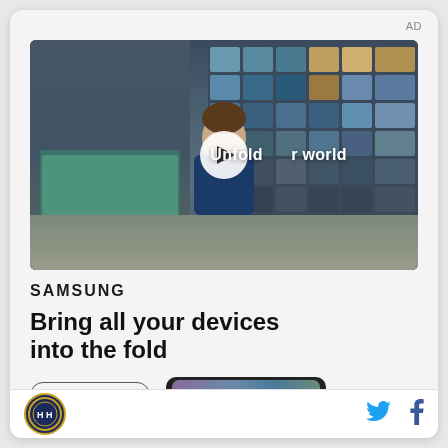AD
[Figure (screenshot): Samsung video advertisement showing a young man in a diner/cafeteria setting with colorful tiled windows, a play button overlay, and text 'Unfold your world']
SAMSUNG
Bring all your devices into the fold
LEARN MORE
[Figure (screenshot): Preview image of a Samsung foldable phone screen showing people]
[Figure (logo): Circular sports/media organization logo with 'H H' letters]
[Figure (logo): Twitter bird icon in blue]
[Figure (logo): Facebook 'f' icon in dark blue]